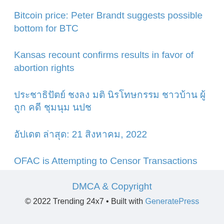Bitcoin price: Peter Brandt suggests possible bottom for BTC
Kansas recount confirms results in favor of abortion rights
ประชาธิปัตย์ ชงลง มติ นิรโทษกรรม ชาวบ้าน ผู้ถูก คดี ชุมนุม นปช
อัปเดต ล่าสุด: 21 สิงหาคม, 2022
OFAC is Attempting to Censor Transactions From Getting into the Blockchain
DMCA & Copyright
© 2022 Trending 24x7 • Built with GeneratePress